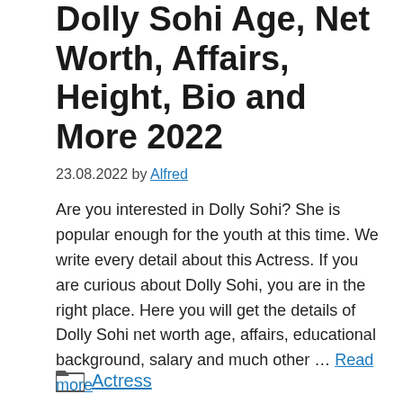Dolly Sohi Age, Net Worth, Affairs, Height, Bio and More 2022
23.08.2022 by Alfred
Are you interested in Dolly Sohi? She is popular enough for the youth at this time. We write every detail about this Actress. If you are curious about Dolly Sohi, you are in the right place. Here you will get the details of Dolly Sohi net worth age, affairs, educational background, salary and much other … Read more
Actress